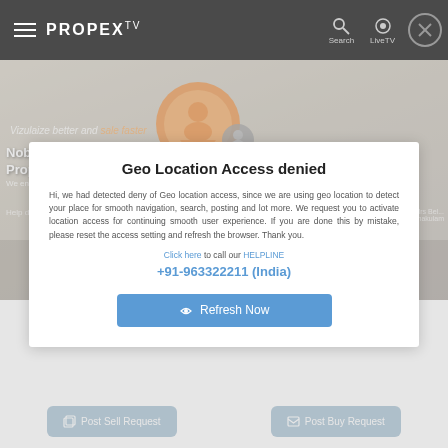PROPEX TV — Search | LiveTV
[Figure (screenshot): Hero background showing a room interior with a geo-location pin graphic overlay and text: 'Vizulaize better and sale faster', 'Nobody Can Promote Your Property Faster Than Us', 'We ensure your property transaction faster and delightful']
Geo Location Access denied
Hi, we had detected deny of Geo location access, since we are using geo location to detect your place for smooth navigation, search, posting and lot more. We request you to activate location access for continuing smooth user experience. If you are done this by mistake, please reset the access setting and refresh the browser. Thank you.
Click here to call our HELPLINE +91-963322211 (India)
Refresh Now
Nobody Can Promote Your Property Faster Than Us
Post Sell Request
Post Buy Request